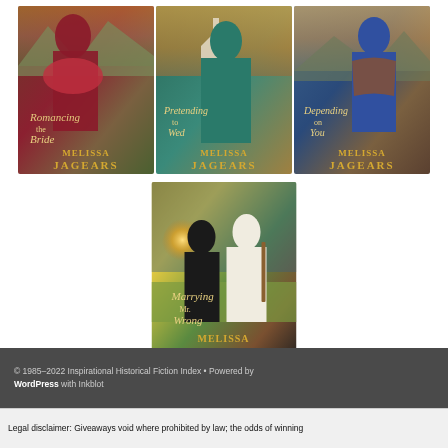[Figure (photo): Three book covers by Melissa Jagears: 'Romancing the Bride', 'Pretending to Wed', 'Depending on You' arranged in a row]
[Figure (photo): Book cover by Melissa Jagears: 'Marrying Mr. Wrong' showing a couple at sunset]
© 1985–2022 Inspirational Historical Fiction Index • Powered by WordPress with Inkblot
Legal disclaimer: Giveaways void where prohibited by law; the odds of winning